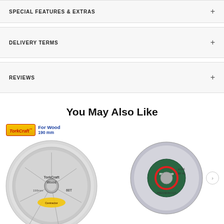SPECIAL FEATURES & EXTRAS
DELIVERY TERMS
REVIEWS
You May Also Like
[Figure (photo): TorkCraft For Wood 190mm circular saw blade with 60 teeth, labeled 'Wood', 'Contractor', '190mm', '60T']
[Figure (photo): Metabo Classic Precision Cut circular saw blade, 216mm, 40 teeth, with red ring and green center hub]